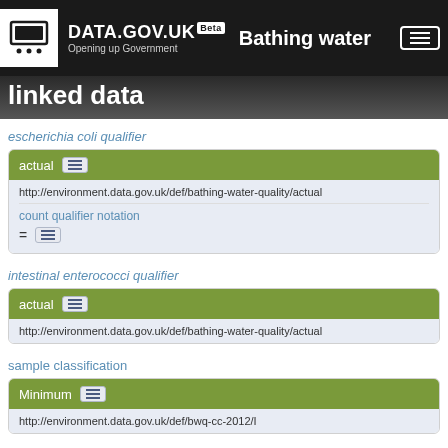DATA.GOV.UK Beta — Bathing water linked data
escherichia coli qualifier
actual — http://environment.data.gov.uk/def/bathing-water-quality/actual
count qualifier notation
= (list icon)
intestinal enterococci qualifier
actual — http://environment.data.gov.uk/def/bathing-water-quality/actual
sample classification
Minimum — http://environment.data.gov.uk/def/bwq-cc-2012/I
sample date time